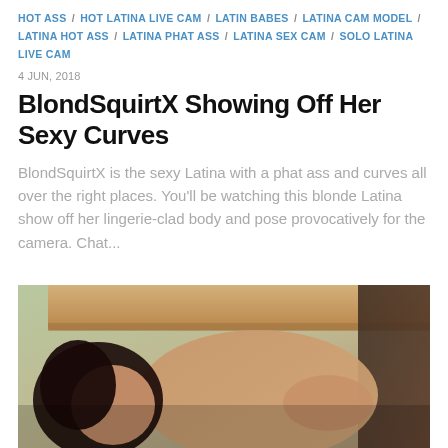HOT ASS / HOT LATINA LIVE CAM / LATIN BABES / LATINA CAM MODEL / LATINA HOT ASS / LATINA PHAT ASS / LATINA SEX CAM / SOLO LATINA LIVE CAM
4 JUN, 2018
BlondSquirtX Showing Off Her Sexy Curves
BlondSquirtX is the sexy Latina with a phat ass and curves all over the right places. You’ll be watching this blonde Latina show off her lingerie-clad body and pose provocatively for the camera. Chat...
[Figure (photo): Photo of a dark-haired woman posing; partial figure with skin tones and wooden background visible]